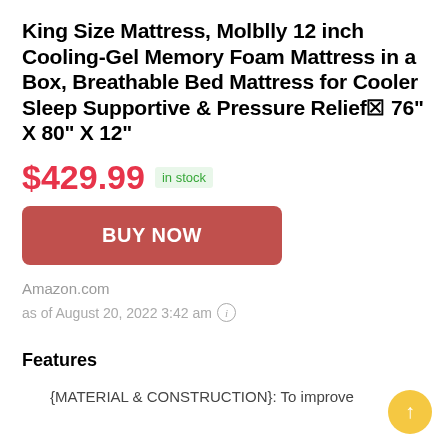King Size Mattress, Molblly 12 inch Cooling-Gel Memory Foam Mattress in a Box, Breathable Bed Mattress for Cooler Sleep Supportive & Pressure Relief☒ 76" X 80" X 12"
$429.99  in stock
[Figure (other): BUY NOW button — a red/coral rounded rectangle with white bold text BUY NOW centered]
Amazon.com
as of August 20, 2022 3:42 am ⓘ
Features
{MATERIAL & CONSTRUCTION}: To improve